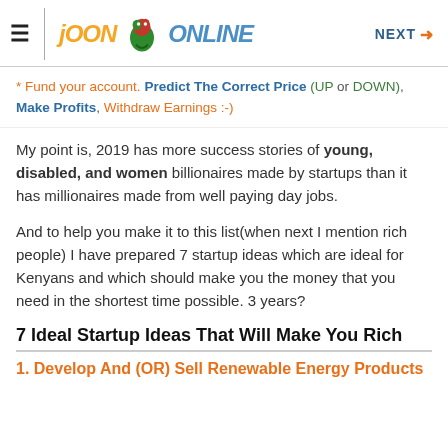☰ | JOON ONLINE  NEXT →
* Fund your account. Predict The Correct Price (UP or DOWN), Make Profits, Withdraw Earnings :-)
My point is, 2019 has more success stories of young, disabled, and women billionaires made by startups than it has millionaires made from well paying day jobs.
And to help you make it to this list(when next I mention rich people) I have prepared 7 startup ideas which are ideal for Kenyans and which should make you the money that you need in the shortest time possible. 3 years?
7 Ideal Startup Ideas That Will Make You Rich
1. Develop And (OR) Sell Renewable Energy Products